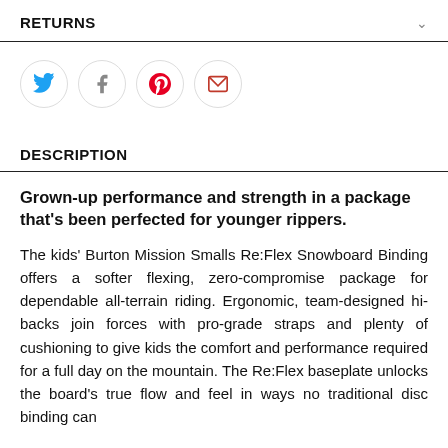RETURNS
[Figure (infographic): Social share icons row: Twitter (blue bird), Facebook (grey f), Pinterest (red P), Email (red envelope)]
DESCRIPTION
Grown-up performance and strength in a package that's been perfected for younger rippers.
The kids' Burton Mission Smalls Re:Flex Snowboard Binding offers a softer flexing, zero-compromise package for dependable all-terrain riding. Ergonomic, team-designed hi-backs join forces with pro-grade straps and plenty of cushioning to give kids the comfort and performance required for a full day on the mountain. The Re:Flex baseplate unlocks the board's true flow and feel in ways no traditional disc binding can